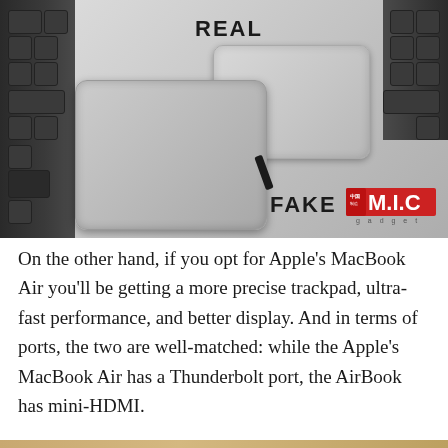[Figure (photo): Comparison photo of two laptop trackpads: a smaller 'REAL' Apple MacBook Air trackpad on the right and a larger 'FAKE' clone trackpad on the left, with MIC Gadget watermark in bottom right corner.]
On the other hand, if you opt for Apple's MacBook Air you'll be getting a more precise trackpad, ultra-fast performance, and better display. And in terms of ports, the two are well-matched: while the Apple's MacBook Air has a Thunderbolt port, the AirBook has mini-HDMI.